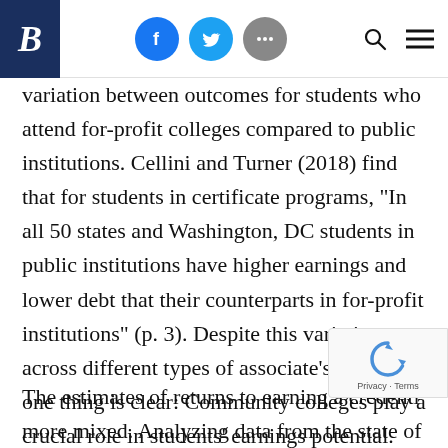B [Brookings logo] — Facebook, Twitter, More, Search, Menu icons
variation between outcomes for students who attend for-profit colleges compared to public institutions. Cellini and Turner (2018) find that for students in certificate programs, “In all 50 states and Washington, DC students in public institutions have higher earnings and lower debt that their counterparts in for-profit institutions” (p. 3). Despite this variation across different types of associate’s degrees, one thing is clear: Community colleges play a crucial role in students’ earnings potential.
The estimates of returns to earning a credenti… more mixed. Analyzing data from the state of…